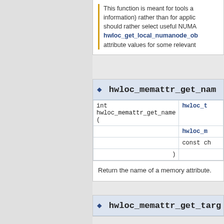This function is meant for tools and informational purposes (to enumerate and select NUMA nodes based on attribute values for some relevant attribute) rather than for applications. Applications should rather select useful NUMA nodes by consulting hwloc_get_local_numanode_obj... attribute values for some relevant...
◆ hwloc_memattr_get_name
| int hwloc_memattr_get_name ( | hwloc_t... |
|  | hwloc_m... |
|  | const ch... |
|  | ) |
Return the name of a memory attribute.
◆ hwloc_memattr_get_targ...